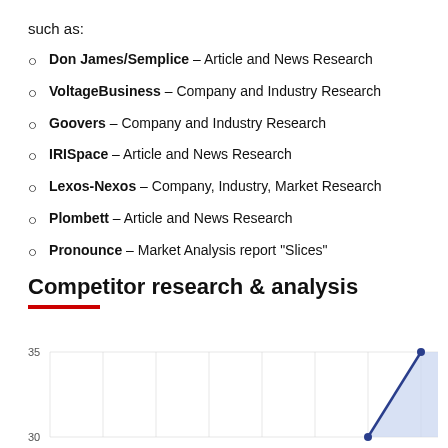such as:
Don James/Semplice – Article and News Research
VoltageBusiness – Company and Industry Research
Goovers – Company and Industry Research
IRISpace – Article and News Research
Lexos-Nexos – Company, Industry, Market Research
Plombett – Article and News Research
Pronounce – Market Analysis report "Slices"
Competitor research & analysis
[Figure (area-chart): Area/line chart showing competitor research data, y-axis from 30 to 35, with a line rising sharply at the right edge to 35, filled with light blue area beneath.]